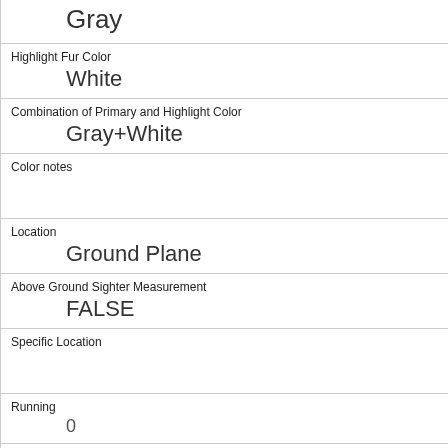| Gray |
| Highlight Fur Color | White |
| Combination of Primary and Highlight Color | Gray+White |
| Color notes |  |
| Location | Ground Plane |
| Above Ground Sighter Measurement | FALSE |
| Specific Location |  |
| Running | 0 |
| Chasing | 0 |
| Climbing | 1 |
| Eating | 1 |